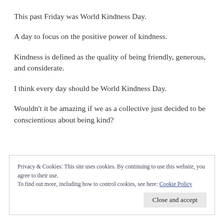This past Friday was World Kindness Day.
A day to focus on the positive power of kindness.
Kindness is defined as the quality of being friendly, generous, and considerate.
I think every day should be World Kindness Day.
Wouldn't it be amazing if we as a collective just decided to be conscientious about being kind?
Privacy & Cookies: This site uses cookies. By continuing to use this website, you agree to their use.
To find out more, including how to control cookies, see here: Cookie Policy